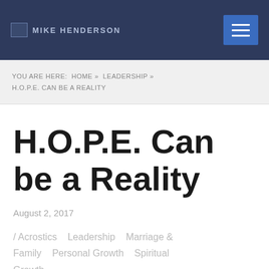Mike Henderson
YOU ARE HERE: HOME » LEADERSHIP » H.O.P.E. CAN BE A REALITY
H.O.P.E. Can be a Reality
August 2, 2017
/ Acrostics   Leadership   Marriage & Family   Personal Growth   Spiritual Growth